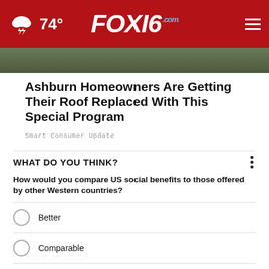74° FOX16.com
[Figure (photo): Partial view of a rooftop article image]
Ashburn Homeowners Are Getting Their Roof Replaced With This Special Program
Smart Consumer Update
WHAT DO YOU THINK?
How would you compare US social benefits to those offered by other Western countries?
Better
Comparable
[Figure (screenshot): Advertisement banner showing Call Now! 501-624-1825 with a house aerial photo background]